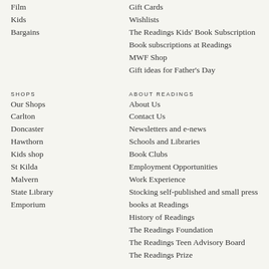Film
Kids
Bargains
Gift Cards
Wishlists
The Readings Kids' Book Subscription
Book subscriptions at Readings
MWF Shop
Gift ideas for Father's Day
SHOPS
ABOUT READINGS
Our Shops
Carlton
Doncaster
Hawthorn
Kids shop
St Kilda
Malvern
State Library
Emporium
About Us
Contact Us
Newsletters and e-news
Schools and Libraries
Book Clubs
Employment Opportunities
Work Experience
Stocking self-published and small press books at Readings
History of Readings
The Readings Foundation
The Readings Teen Advisory Board
The Readings Prize